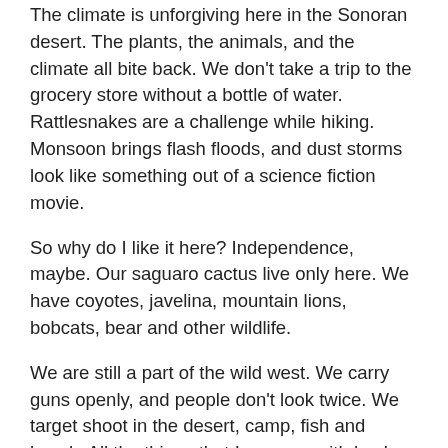The climate is unforgiving here in the Sonoran desert. The plants, the animals, and the climate all bite back. We don't take a trip to the grocery store without a bottle of water. Rattlesnakes are a challenge while hiking. Monsoon brings flash floods, and dust storms look like something out of a science fiction movie.
So why do I like it here? Independence, maybe. Our saguaro cactus live only here. We have coyotes, javelina, mountain lions, bobcats, bear and other wildlife.
We are still a part of the wild west. We carry guns openly, and people don't look twice. We target shoot in the desert, camp, fish and kayak. All the things that I grew up with back east as a kid and young adult. This is one of the last places we can still practice those skills.